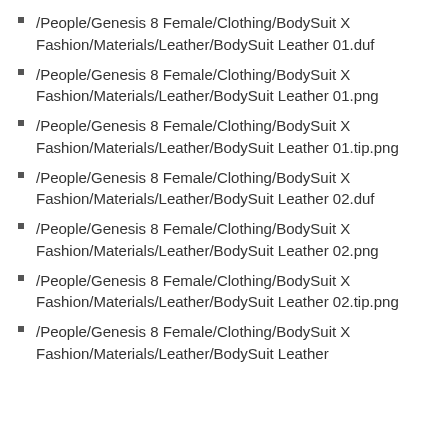/People/Genesis 8 Female/Clothing/BodySuit X Fashion/Materials/Leather/BodySuit Leather 01.duf
/People/Genesis 8 Female/Clothing/BodySuit X Fashion/Materials/Leather/BodySuit Leather 01.png
/People/Genesis 8 Female/Clothing/BodySuit X Fashion/Materials/Leather/BodySuit Leather 01.tip.png
/People/Genesis 8 Female/Clothing/BodySuit X Fashion/Materials/Leather/BodySuit Leather 02.duf
/People/Genesis 8 Female/Clothing/BodySuit X Fashion/Materials/Leather/BodySuit Leather 02.png
/People/Genesis 8 Female/Clothing/BodySuit X Fashion/Materials/Leather/BodySuit Leather 02.tip.png
/People/Genesis 8 Female/Clothing/BodySuit X Fashion/Materials/Leather/BodySuit Leather